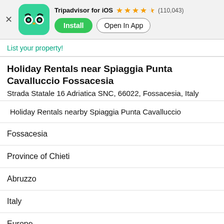[Figure (screenshot): Tripadvisor app banner with green owl icon, star rating (110,043 reviews), Install and Open In App buttons]
List your property!
Holiday Rentals near Spiaggia Punta Cavalluccio Fossacesia
Strada Statale 16 Adriatica SNC, 66022, Fossacesia, Italy
Holiday Rentals nearby Spiaggia Punta Cavalluccio
Fossacesia
Province of Chieti
Abruzzo
Italy
Europe
Holiday Rentals